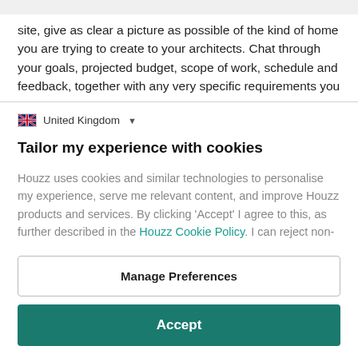site, give as clear a picture as possible of the kind of home you are trying to create to your architects. Chat through your goals, projected budget, scope of work, schedule and feedback, together with any very specific requirements you
United Kingdom
Tailor my experience with cookies
Houzz uses cookies and similar technologies to personalise my experience, serve me relevant content, and improve Houzz products and services. By clicking 'Accept' I agree to this, as further described in the Houzz Cookie Policy. I can reject non-
Manage Preferences
Accept